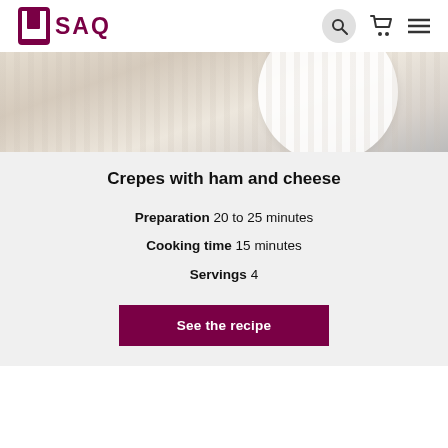[Figure (logo): SAQ logo — dark red square bracket icon with SAQ text in dark red]
[Figure (photo): Partial top view of a white plate with food on a textured light beige placemat background]
Crepes with ham and cheese
Preparation 20 to 25 minutes
Cooking time 15 minutes
Servings 4
See the recipe
Keywords